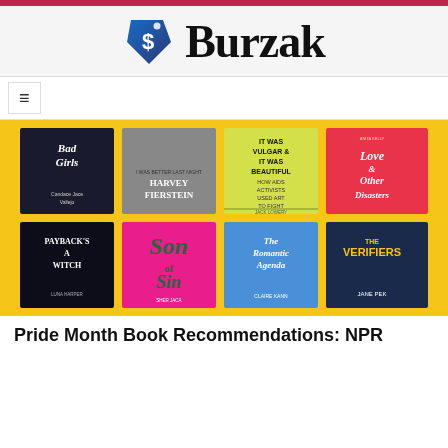Burzak
[Figure (illustration): A 2x4 grid of book covers on a yellow background: Bad Girls (Candace Jace Vallejo), Harvey Fierstein memoir, It Was Vulgar & It Was Beautiful: How AIDS Activists Used Art to Fight a Pandemic by Jack Lowery, Love & Other Disasters by Anita Kelly, Payback's a Witch (Luna Harper), Son of Sin (Sher Jaca), The Romantic Agenda by Claire Kann, The Verifiers by Jane Pek.]
Pride Month Book Recommendations: NPR